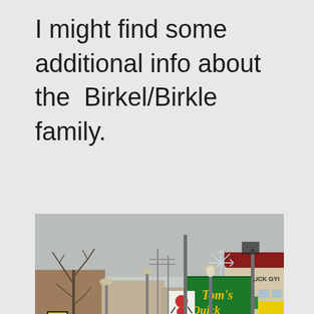I might find some additional info about the Birkel/Birkle family.
[Figure (photo): Street scene photo showing Tom's Quick Stop gas station sign with green background and yellow lettering, a gas price sign showing 219.9 and 239.9, street lights, bare trees, and a Shattuck Gym building with red roof on the right side. A pedestrian crossing sign is visible on the left.]